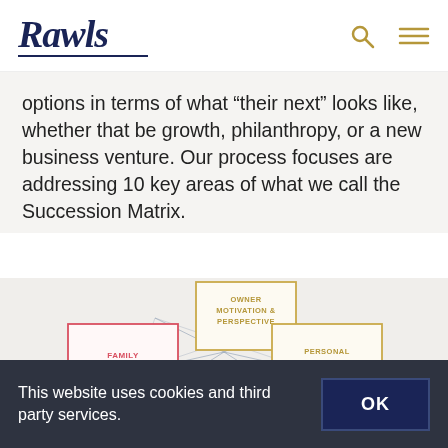Rawls
options in terms of what “their next” looks like, whether that be growth, philanthropy, or a new business venture. Our process focuses are addressing 10 key areas of what we call the Succession Matrix.
[Figure (infographic): Succession Matrix diagram showing interconnected boxes: Owner Motivation & Perspective (gold border, top center), Family Governance (red border, left), Personal Financial Planning (gold border, right), with connecting lines forming a geometric network pattern. Additional partially visible boxes at the bottom.]
This website uses cookies and third party services.